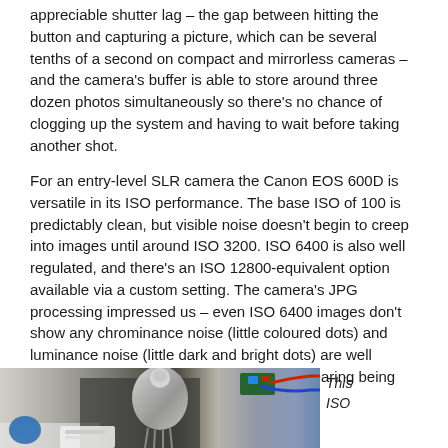appreciable shutter lag – the gap between hitting the button and capturing a picture, which can be several tenths of a second on compact and mirrorless cameras – and the camera's buffer is able to store around three dozen photos simultaneously so there's no chance of clogging up the system and having to wait before taking another shot.
For an entry-level SLR camera the Canon EOS 600D is versatile in its ISO performance. The base ISO of 100 is predictably clean, but visible noise doesn't begin to creep into images until around ISO 3200. ISO 6400 is also well regulated, and there's an ISO 12800-equivalent option available via a custom setting. The camera's JPG processing impressed us – even ISO 6400 images don't show any chrominance noise (little coloured dots) and luminance noise (little dark and bright dots) are well controlled without excessive blurring or smearing being introduced.
[Figure (photo): Close-up photograph of electronic components including a vacuum tube/valve and circuit board with red and blue wires, taken at high ISO to demonstrate camera noise performance.]
This ISO